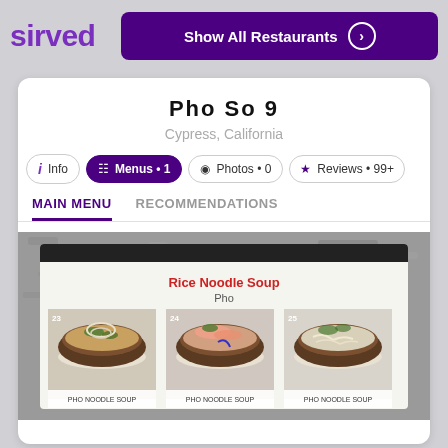sirved
Show All Restaurants
Pho So 9
Cypress, California
i Info
Menus • 1
Photos • 0
Reviews • 99+
MAIN MENU
RECOMMENDATIONS
[Figure (photo): Photo of a restaurant physical menu opened to Rice Noodle Soup (Pho) section, showing three bowls of pho with numbers 23, 24, 25, placed on a granite countertop]